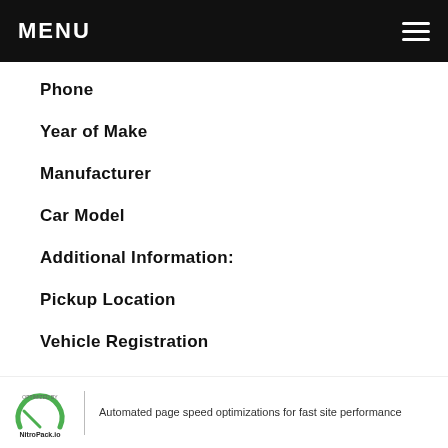MENU
Phone
Year of Make
Manufacturer
Car Model
Additional Information:
Pickup Location
Vehicle Registration
Get a Quote
OPTIMIZED BY NitroPack.io | Automated page speed optimizations for fast site performance